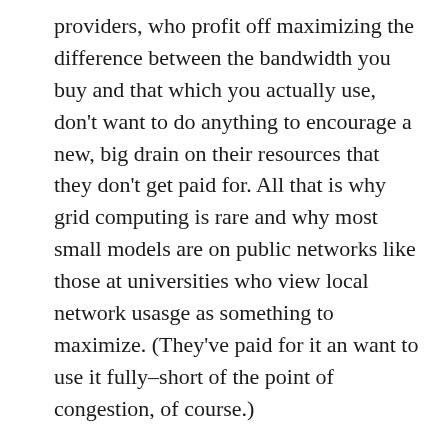providers, who profit off maximizing the difference between the bandwidth you buy and that which you actually use, don't want to do anything to encourage a new, big drain on their resources that they don't get paid for. All that is why grid computing is rare and why most small models are on public networks like those at universities who view local network usasge as something to maximize. (They've paid for it an want to use it fully–short of the point of congestion, of course.)
When Lafayette gets it big bandwidth 100 megs internal fiber-optic system from LUS most of us will have that bandwidth to burn. It won't cost us anything noticeable to share our cycles